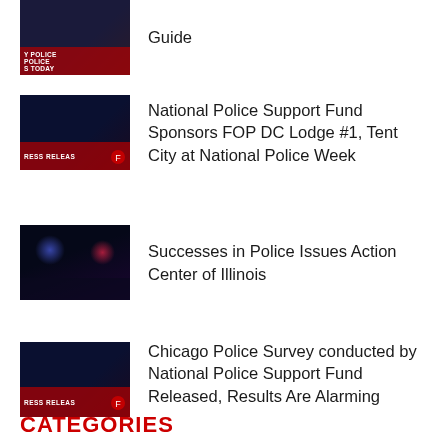Guide
National Police Support Fund Sponsors FOP DC Lodge #1, Tent City at National Police Week
Successes in Police Issues Action Center of Illinois
Chicago Police Survey conducted by National Police Support Fund Released, Results Are Alarming
CATEGORIES